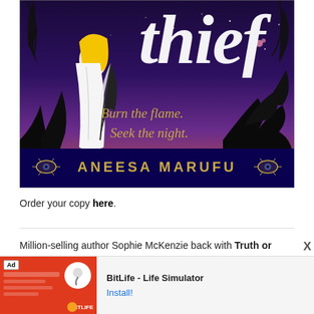[Figure (illustration): Book cover showing a figure in white robes with yellow hair against a dark purple/blue night sky with botanical silhouettes, large stylized white title text 'Thief' partially visible at top, tagline 'Burn the flame. Seek the night.' in gold serif font, and author name 'ANEESA MARUFU' in gold caps at the bottom with decorative eye symbols on each side.]
Order your copy here.
Million-selling author Sophie McKenzie back with Truth or Dare, a tense eco-drama that we devoured in a weekend!
[Figure (screenshot): Advertisement banner for BitLife - Life Simulator app. Red background with 'Ad' badge, sperm icon, BitLife logo. Text reads 'BitLife - Life Simulator' with 'Install!' link.]